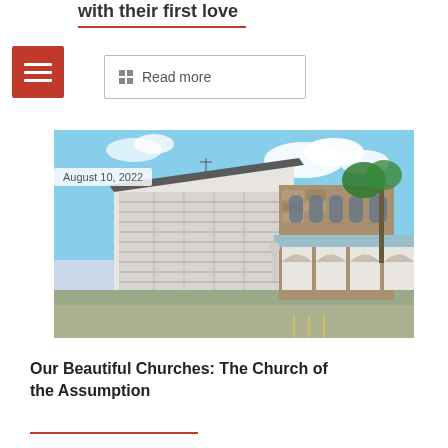with their first love
[Figure (photo): Exterior photo of the Church of the Assumption — a mid-century modern building with a slanted metal roof, white louvered panels, stone facade, arched entryways, a statue near the entrance, and palm trees in the background under a blue sky with clouds. Date overlay reads August 10, 2022.]
Our Beautiful Churches: The Church of the Assumption